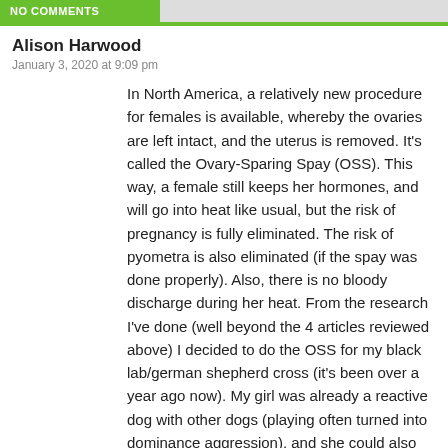NO COMMENTS
Alison Harwood
January 3, 2020 at 9:09 pm
In North America, a relatively new procedure for females is available, whereby the ovaries are left intact, and the uterus is removed. It's called the Ovary-Sparing Spay (OSS). This way, a female still keeps her hormones, and will go into heat like usual, but the risk of pregnancy is fully eliminated. The risk of pyometra is also eliminated (if the spay was done properly). Also, there is no bloody discharge during her heat. From the research I've done (well beyond the 4 articles reviewed above) I decided to do the OSS for my black lab/german shepherd cross (it's been over a year ago now). My girl was already a reactive dog with other dogs (playing often turned into dominance aggression), and she could also be very stubborn and aggressive with my husband and I if we tried to get her to do something she didn't want to do (this behaviour is more shepherd than lab). There is evidence in several controlled studies, that spaying females may